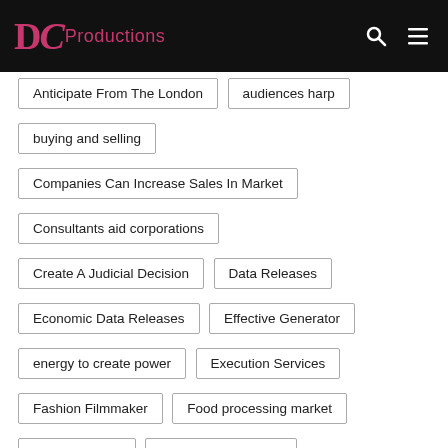DC Productions
Anticipate From The London
audiences harp
buying and selling
Companies Can Increase Sales In Market
Consultants aid corporations
Create A Judicial Decision
Data Releases
Economic Data Releases
Effective Generator
energy to create power
Execution Services
Fashion Filmmaker
Food processing market
Get Audiences
Important Strategies
Internet Business Directories